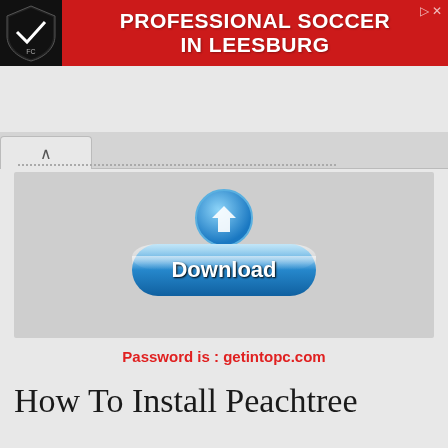[Figure (screenshot): Red advertisement banner for Loudoun FC professional soccer in Leesburg, with shield logo on left and close button icons top right]
[Figure (screenshot): Browser tab bar showing active tab with up-arrow caret icon]
[Figure (screenshot): Blue rounded button with white bold text: How to Install this Software]
[Figure (screenshot): Download button image: blue glossy pill-shaped button with Download text and blue download arrow icon above it, on grey background]
Password is : getintopc.com
How To Install Peachtree